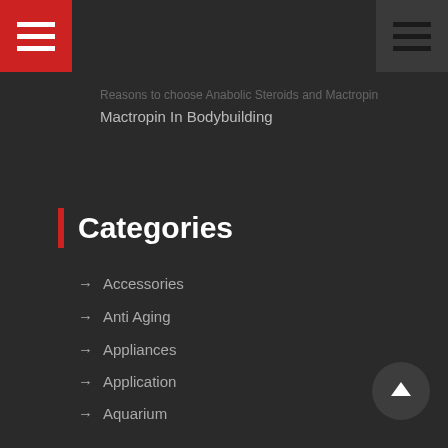Navigation header with red hamburger menu and dark hamburger menu
Reasons to choose Anabolic Steroids and Mactropin In Bodybuilding
Categories
Accessories
Anti Aging
Appliances
Application
Aquarium
Arts
Arts and Entertainment
Beauty
Bitcoin
Bodybuilding
Botox